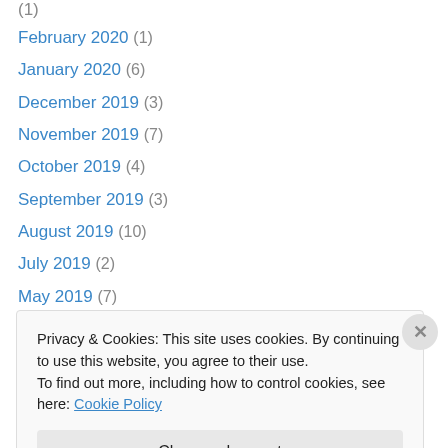February 2020 (1)
January 2020 (6)
December 2019 (3)
November 2019 (7)
October 2019 (4)
September 2019 (3)
August 2019 (10)
July 2019 (2)
May 2019 (7)
April 2019 (3)
February 2019 (2)
January 2019 (13)
November 2018 (3)
Privacy & Cookies: This site uses cookies. By continuing to use this website, you agree to their use.
To find out more, including how to control cookies, see here: Cookie Policy
Close and accept